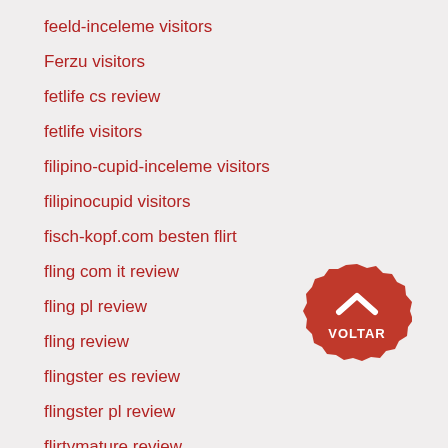feeld-inceleme visitors
Ferzu visitors
fetlife cs review
fetlife visitors
filipino-cupid-inceleme visitors
filipinocupid visitors
fisch-kopf.com besten flirt
fling com it review
fling pl review
fling review
flingster es review
flingster pl review
flirtymature review
FlirtyMature visitors
[Figure (illustration): Red badge/seal shape with upward chevron arrow and text VOLTAR in white, used as a back-to-top button]